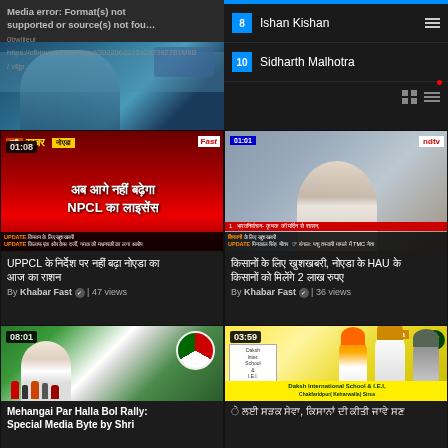[Figure (screenshot): Media error screen with text overlay and partial image of child at dentist]
[Figure (screenshot): Trending list item #8: Ishan Kishan with hamburger menu icon]
[Figure (screenshot): Trending list item #10: Sidharth Malhotra with grid/list toggle icons]
[Figure (screenshot): Khabar Fast Hindi news video thumbnail: red background with Hindi text about NPCL license, 01:08 duration, 47 views]
UPPCL के निर्देश पर नहीं बढ़ा नोएडा का आज का राशन
By Khabar Fast ✓ | 47 views
[Figure (screenshot): Khabar Fast news video with Modi/elderly politician in parliament, 01:01 duration, 36 views]
किसानों के लिए खुशखबरी, नोएडा के HAU के किसानों को मिलेंगे 2 लाख रुपए
By Khabar Fast ✓ | 36 views
[Figure (screenshot): Congress rally video - Mehangai Par Halla Bol Rally Special Media Byte, 08:01 duration]
Mehangai Par Halla Bol Rally: Special Media Byte by Shri
[Figure (screenshot): Sirsa Sikh farmers video with Daksh International School & I.E.I. banner, 03:59 duration]